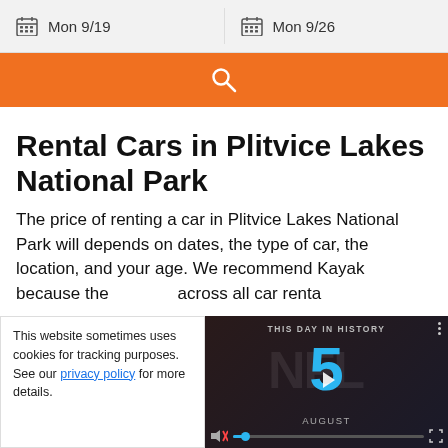[Figure (screenshot): Date picker bar showing two calendar fields: Mon 9/19 and Mon 9/26]
[Figure (screenshot): Orange search button with a magnifying glass icon]
Rental Cars in Plitvice Lakes National Park
The price of renting a car in Plitvice Lakes National Park will depends on dates, the type of car, the location, and your age. We recommend Kayak because they across all car renta
This website sometimes uses cookies for tracking purposes. See our privacy policy for more details.
[Figure (screenshot): Video overlay showing 'This Day in History' with number 5 and AUGUST label, with play button and video controls]